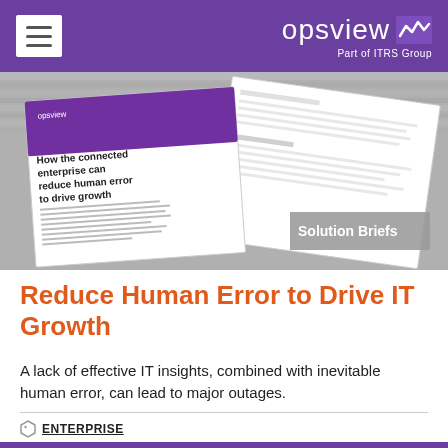opsview — Part of ITRS Group
[Figure (illustration): Preview image showing Opsview solution brief documents fanned out: 'How the connected enterprise can reduce human error to drive growth' white paper with purple accent, and an interior page spread. 'Solution Briefs' label in bottom-right corner.]
Reduce Human Error to Drive IT Growth
A lack of effective IT insights, combined with inevitable human error, can lead to major outages.
ENTERPRISE